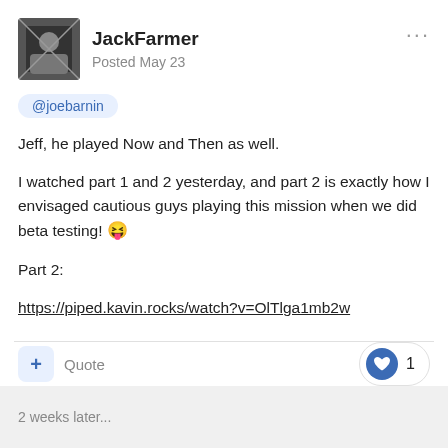JackFarmer — Posted May 23
@joebarnin
Jeff, he played Now and Then as well.

I watched part 1 and 2 yesterday, and part 2 is exactly how I envisaged cautious guys playing this mission when we did beta testing! 😝

Part 2:

https://piped.kavin.rocks/watch?v=OlTlga1mb2w
Quote  ♥ 1
2 weeks later...